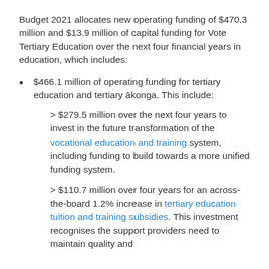Budget 2021 allocates new operating funding of $470.3 million and $13.9 million of capital funding for Vote Tertiary Education over the next four financial years in education, which includes:
$466.1 million of operating funding for tertiary education and tertiary ākonga. This include:
> $279.5 million over the next four years to invest in the future transformation of the vocational education and training system, including funding to build towards a more unified funding system.
> $110.7 million over four years for an across-the-board 1.2% increase in tertiary education tuition and training subsidies. This investment recognises the support providers need to maintain quality and